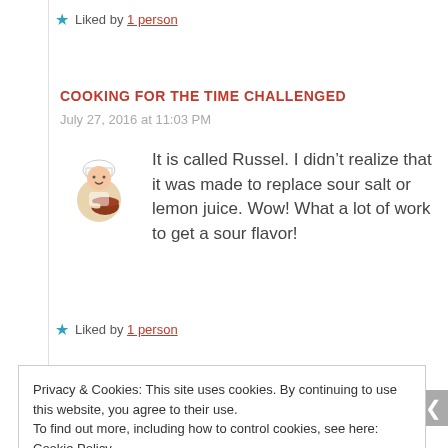★ Liked by 1 person
COOKING FOR THE TIME CHALLENGED
July 27, 2016 at 11:03 PM
It is called Russel. I didn't realize that it was made to replace sour salt or lemon juice. Wow! What a lot of work to get a sour flavor!
★ Liked by 1 person
Privacy & Cookies: This site uses cookies. By continuing to use this website, you agree to their use. To find out more, including how to control cookies, see here: Cookie Policy